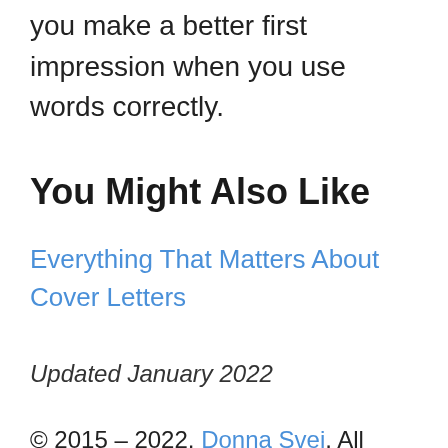you make a better first impression when you use words correctly.
You Might Also Like
Everything That Matters About Cover Letters
Updated January 2022
© 2015 – 2022, Donna Svei. All